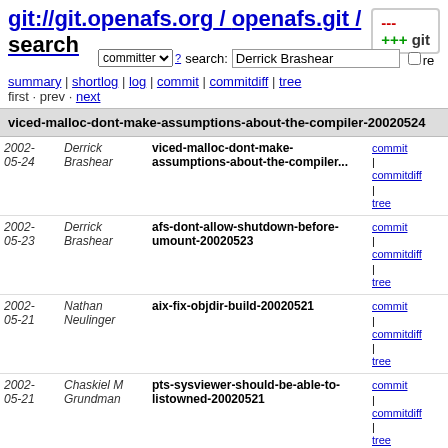git://git.openafs.org / openafs.git / search
committer search: Derrick Brashear re
summary | shortlog | log | commit | commitdiff | tree
first · prev · next
viced-malloc-dont-make-assumptions-about-the-compiler-20020524
| Date | Author | Commit | Links |
| --- | --- | --- | --- |
| 2002-05-24 | Derrick Brashear | viced-malloc-dont-make-assumptions-about-the-compiler... | commit | commitdiff | tree |
| 2002-05-23 | Derrick Brashear | afs-dont-allow-shutdown-before-umount-20020523 | commit | commitdiff | tree |
| 2002-05-21 | Nathan Neulinger | aix-fix-objdir-build-20020521 | commit | commitdiff | tree |
| 2002-05-21 | Chaskiel M Grundman | pts-sysviewer-should-be-able-to-listowned-20020521 | commit | commitdiff | tree |
| 2002-05-16 | Derrick Brashear | NT-dirpath-copy-in-useful-file-20020516 | commit | commitdiff | tree |
| 2002-05-16 | Derrick Brashear | afs-attrs-cast-date-to-int-to-avoid-negative-dates... | commit | commitdiff | tree |
| 2002-05-16 | Nathan Neulinger | pioctl-avoid-inadvertantly-setting-new-pags-due-to... | commit | commitdiff | tree |
| 2002-05-14 | Derrick Brashear | dir-hold-afs-bufferlock-across-increment-of-buffer... | commit | commitdiff | tree |